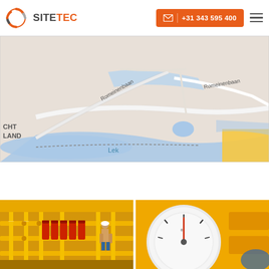[Figure (logo): SiteTec logo with circular icon and company name in two colors]
[Figure (other): Orange contact button with envelope icon, vertical divider, and phone number +31 343 595 400]
[Figure (map): Google Maps view showing Romeinenbaan road area with river Lek and blue water areas, partial text: CHT, LAND]
[Figure (photo): Industrial gas installation with yellow pipes, red cylinders/fire suppression system, and a worker]
[Figure (photo): Close-up of yellow industrial pressure gauge on yellow equipment]